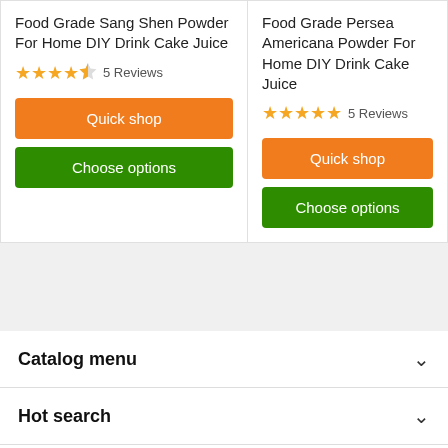Food Grade Sang Shen Powder For Home DIY Drink Cake Juice
★★★★½ 5 Reviews
Quick shop
Choose options
Food Grade Persea Americana Powder For Home DIY Drink Cake Juice
★★★★★ 5 Reviews
Quick shop
Choose options
Catalog menu
Hot search
Subscribe
Keep touch with us
Chat with us